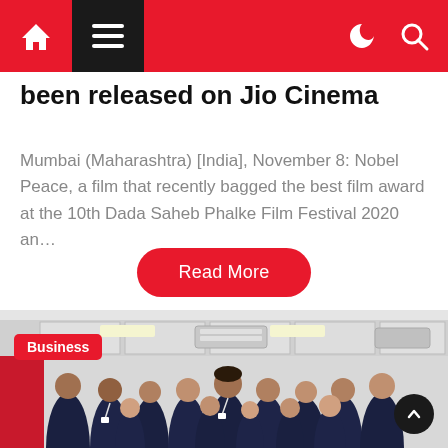Navigation bar with home, menu, dark mode and search icons
been released on Jio Cinema
Mumbai (Maharashtra) [India], November 8: Nobel Peace, a film that recently bagged the best film award at the 10th Dada Saheb Phalke Film Festival 2020 an…
Read More
Business
[Figure (photo): Group photo of approximately 15 young professionals in dark blue uniforms with ID badges, posing together in an office environment with ceiling tiles, AC units, and a red wall accent in the background.]